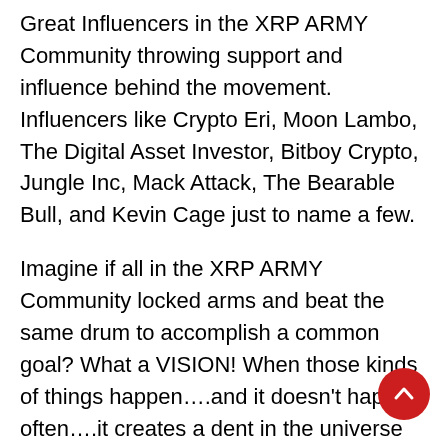Great Influencers in the XRP ARMY Community throwing support and influence behind the movement. Influencers like Crypto Eri, Moon Lambo, The Digital Asset Investor, Bitboy Crypto, Jungle Inc, Mack Attack, The Bearable Bull, and Kevin Cage just to name a few.
Imagine if all in the XRP ARMY Community locked arms and beat the same drum to accomplish a common goal? What a VISION! When those kinds of things happen….and it doesn't happen often….it creates a dent in the universe and causes the world to wobble just a little on its axis. Who wants to miss out on being a part of something like that?
Who isn't cool with that and looking forward to the application of the Law of Synergy by what some have called the Greatest Community in all of